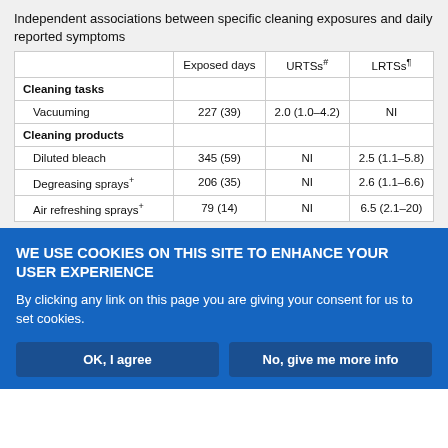Independent associations between specific cleaning exposures and daily reported symptoms
|  | Exposed days | URTSs# | LRTSs¶ |
| --- | --- | --- | --- |
| Cleaning tasks |  |  |  |
| Vacuuming | 227 (39) | 2.0 (1.0–4.2) | NI |
| Cleaning products |  |  |  |
| Diluted bleach | 345 (59) | NI | 2.5 (1.1–5.8) |
| Degreasing sprays+ | 206 (35) | NI | 2.6 (1.1–6.6) |
| Air refreshing sprays+ | 79 (14) | NI | 6.5 (2.1–20) |
WE USE COOKIES ON THIS SITE TO ENHANCE YOUR USER EXPERIENCE
By clicking any link on this page you are giving your consent for us to set cookies.
OK, I agree
No, give me more info